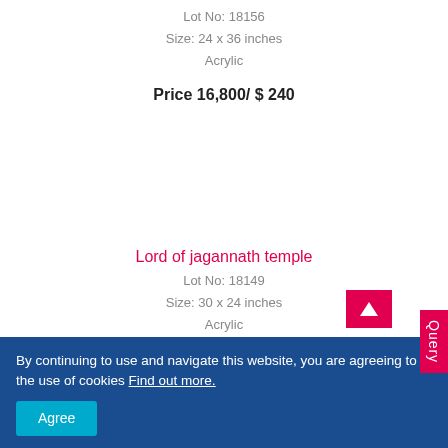Lot No: 18156
Size: 24 x 36 inches
Acrylic
Price 16,800/ $ 240
Lord of jagannath temple
Lot No: 18149
Size: 30 x 24 inches
Acrylic
By continuing to use and navigate this website, you are agreeing to the use of cookies Find out more.
Agree